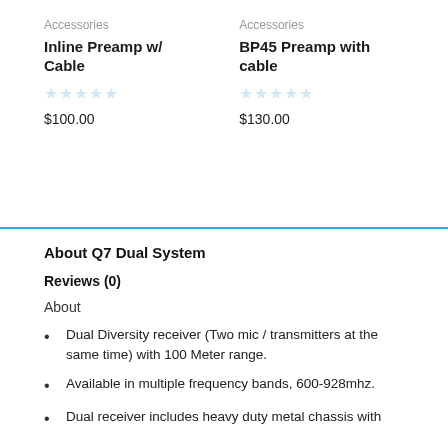Accessories
Inline Preamp w/ Cable
$100.00
Accessories
BP45 Preamp with cable
$130.00
About Q7 Dual System
Reviews (0)
About
Dual Diversity receiver (Two mic / transmitters at the same time) with 100 Meter range.
Available in multiple frequency bands, 600-928mhz.
Dual receiver includes heavy duty metal chassis with